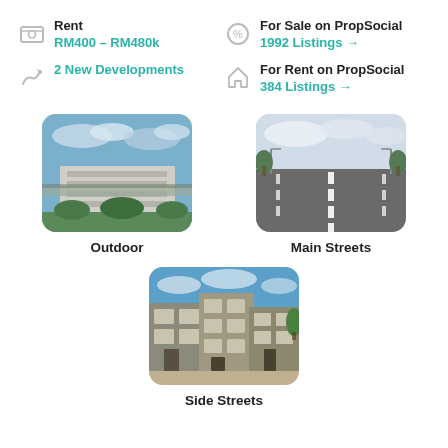Rent
RM400 – RM480k
For Sale on PropSocial
1992 Listings →
2 New Developments
For Rent on PropSocial
384 Listings →
[Figure (photo): Outdoor photo of a building complex with sky]
Outdoor
[Figure (photo): Main street road photo with trees and lamp posts]
Main Streets
[Figure (photo): Side street with terraced buildings]
Side Streets